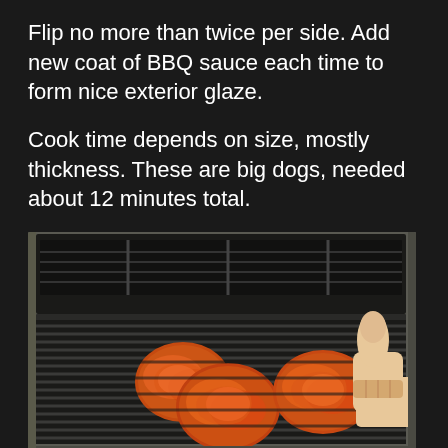Flip no more than twice per side. Add new coat of BBQ sauce each time to form nice exterior glaze.
Cook time depends on size, mostly thickness. These are big dogs, needed about 12 minutes total.
[Figure (photo): A gas grill with the lid open showing three large BBQ-sauced burger patties on the grill grates. A person's hand is giving a thumbs up on the right side of the grill. The grill has a warming rack visible at the top. The bottom shows the grill's control knobs and burner controls.]